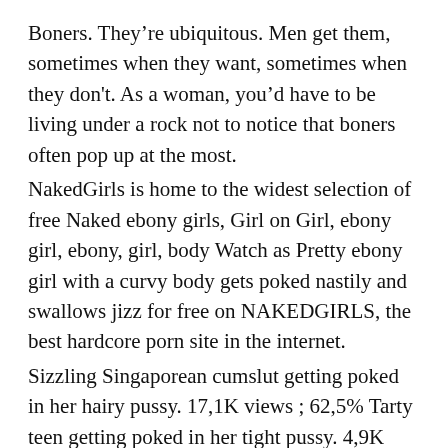Boners. They're ubiquitous. Men get them, sometimes when they want, sometimes when they don't. As a woman, you'd have to be living under a rock not to notice that boners often pop up at the most.
NakedGirls is home to the widest selection of free Naked ebony girls, Girl on Girl, ebony girl, ebony, girl, body Watch as Pretty ebony girl with a curvy body gets poked nastily and swallows jizz for free on NAKEDGIRLS, the best hardcore porn site in the internet.
Sizzling Singaporean cumslut getting poked in her hairy pussy. 17,1K views ; 62,5% Tarty teen getting poked in her tight pussy. 4,9K views ; 61,8% Cute Pinay girl gets her hairy pussy fucked. ,8K views ; 66,6% Bewitching Mexican MILF getting poked in